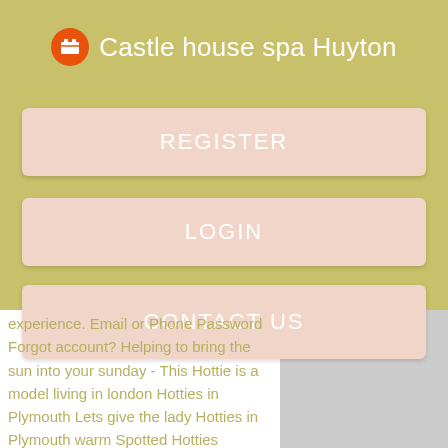Castle house spa Huyton
REGISTER
LOGIN
CONTACT US
experience. Email or Phone Password Forgot account? Helping to bring the sun into your sunday - This Hottie is a model living in london Hotties in Plymouth Lets give the lady Hotties in Plymouth warm Spotted Hotties welcome Super unhelpful